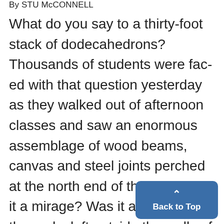By STU McCONNELL
What do you say to a thirty-foot stack of dodecahedrons? Thousands of students were faced with that question yesterday as they walked out of afternoon classes and saw an enormous assemblage of wood beams, canvas and steel joints perched at the north end of the Diag. Was it a mirage? Was it a sacrifice to the gods, left outside the walls of the Graduate Libraryas tribute? More than
[Figure (other): Back to Top button - a blue rounded rectangle with an upward caret arrow and text 'Back to Top']